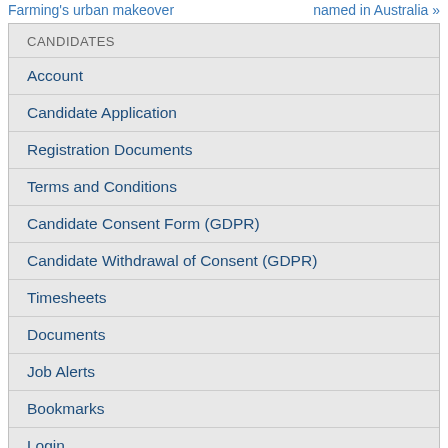Farming's urban makeover | named in Australia »
CANDIDATES
Account
Candidate Application
Registration Documents
Terms and Conditions
Candidate Consent Form (GDPR)
Candidate Withdrawal of Consent (GDPR)
Timesheets
Documents
Job Alerts
Bookmarks
Login